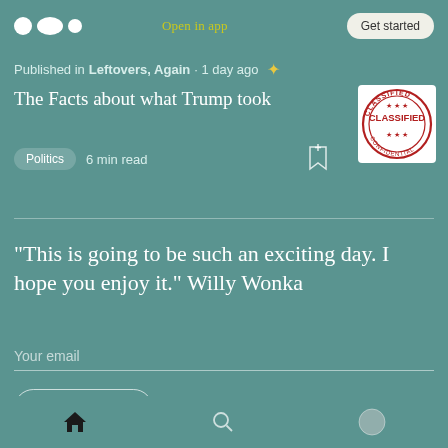Open in app | Get started
Published in Leftovers, Again · 1 day ago
The Facts about what Trump took
[Figure (illustration): A red circular CLASSIFIED stamp/seal image]
Politics  6 min read
"This is going to be such an exciting day. I hope you enjoy it." Willy Wonka
Your email
Subscribe
Home, Search, Profile navigation icons